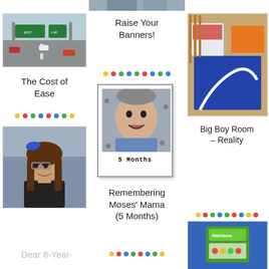[Figure (photo): Partial photo at top center, people visible]
[Figure (photo): Highway with road signs overhead, cars on road]
Raise Your Banners!
[Figure (photo): Children's playroom with toys, bins, colorful play mat]
[Figure (other): Colorful decorative dots row]
The Cost of Ease
[Figure (other): Colorful decorative dots row]
[Figure (photo): Polaroid-style photo of baby smiling, labeled 5 Months]
Big Boy Room – Reality
[Figure (photo): School portrait of young girl with glasses and bow]
Remembering Moses' Mama (5 Months)
[Figure (other): Colorful decorative dots row]
[Figure (photo): Snack package, partial photo]
Dear 8-Year-